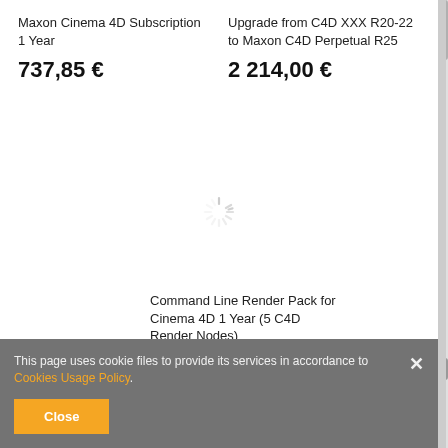Maxon Cinema 4D Subscription 1 Year
737,85 €
Upgrade from C4D XXX R20-22 to Maxon C4D Perpetual R25
2 214,00 €
[Figure (other): Loading spinner icon in center of page]
Command Line Render Pack for Cinema 4D 1 Year (5 C4D Render Nodes)
307,77 €
This page uses cookie files to provide its services in accordance to Cookies Usage Policy.
Close